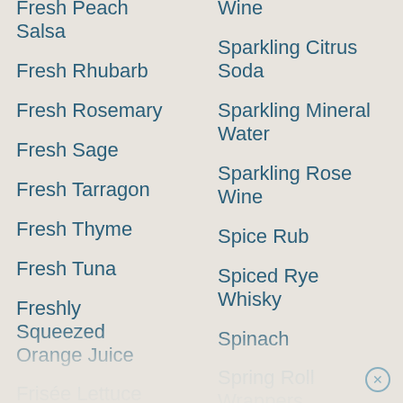Fresh Peach Salsa
Wine
Fresh Rhubarb
Sparkling Citrus Soda
Fresh Rosemary
Sparkling Mineral Water
Fresh Sage
Sparkling Rose Wine
Fresh Tarragon
Spice Rub
Fresh Thyme
Spiced Rye Whisky
Fresh Tuna
Spinach
Freshly Squeezed Orange Juice
Spring Roll Wrappers
Frisée Lettuce
Frozen